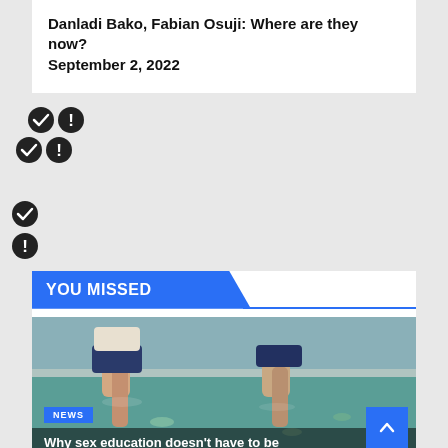Danladi Bako, Fabian Osuji: Where are they now?
September 2, 2022
[Figure (infographic): Two rows of check and exclamation circle icons on a gray background]
YOU MISSED
[Figure (photo): People sitting at the edge of a swimming pool with legs in the water, fish visible underwater. NEWS badge overlay. Partial article title visible at bottom.]
Why sex education doesn't have to be